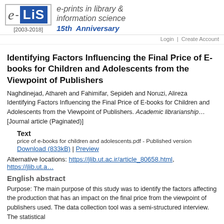[Figure (logo): e-LiS logo with blue square, italic e, dash, LiS text, year [2003-2018], and tagline e-prints in library & information science, 15th Anniversary]
Login | Create Account
Identifying Factors Influencing the Final Price of E-books for Children and Adolescents from the Viewpoint of Publishers
Naghdinejad, Athareh and Fahimifar, Sepideh and Noruzi, Alireza Identifying Factors Influencing the Final Price of E-books for Children and Adolescents from the Viewpoint of Publishers. Academic librarianship... [Journal article (Paginated)]
Text
price of e-books for children and adolescents.pdf - Published version
Download (833kB) | Preview
Alternative locations: https://jlib.ut.ac.ir/article_80658.html, https://jlib.ut.a...
English abstract
Purpose: The main purpose of this study was to identify the factors affecting the production that has an impact on the final price from the viewpoint of publishers used. The data collection tool was a semi-structured interview. The statistics...